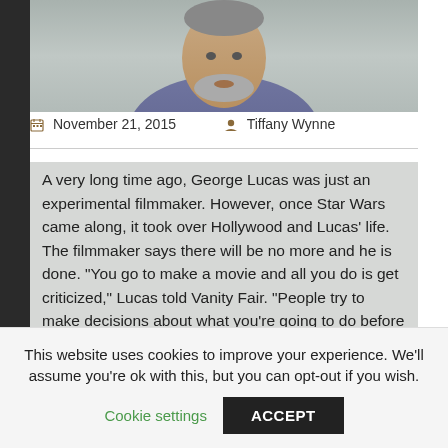[Figure (photo): Partial photo of a man from shoulders up, with gray beard and blue/purple shirt, on a gray background]
November 21, 2015   Tiffany Wynne
A very long time ago, George Lucas was just an experimental filmmaker. However, once Star Wars came along, it took over Hollywood and Lucas' life. The filmmaker says there will be no more and he is done. "You go to make a movie and all you do is get criticized," Lucas told Vanity Fair. "People try to make decisions about what you're going to do before you do it. It's not much fun. You can't experiment. You have to do it a certain way." He went into more detail on his remarks to CBS News. "The issue was ultimately, they looked at the stories, and they said,
This website uses cookies to improve your experience. We'll assume you're ok with this, but you can opt-out if you wish.
Cookie settings
ACCEPT